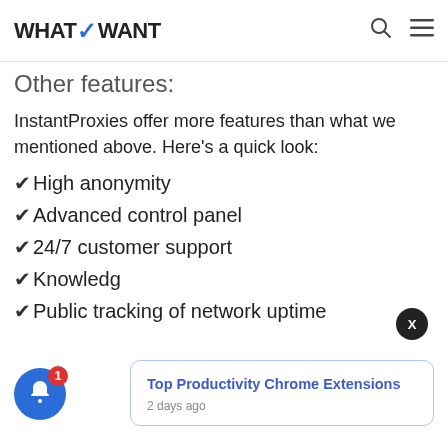WHATVWANT
Other features:
InstantProxies offer more features than what we mentioned above. Here's a quick look:
✔High anonymity
✔Advanced control panel
✔24/7 customer support
✔Knowledge
✔Public tracking of network uptime
Top Productivity Chrome Extensions
2 days ago